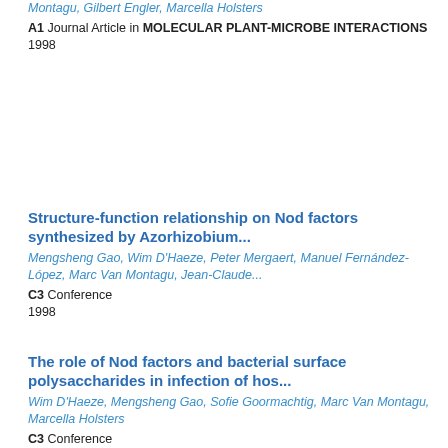Montagu, Gilbert Engler, Marcella Holsters
A1 Journal Article in MOLECULAR PLANT-MICROBE INTERACTIONS
1998
Structure-function relationship on Nod factors synthesized by Azorhizobium...
Mengsheng Gao, Wim D'Haeze, Peter Mergaert, Manuel Fernández-López, Marc Van Montagu, Jean-Claude...
C3 Conference
1998
The role of Nod factors and bacterial surface polysaccharides in infection of hos...
Wim D'Haeze, Mengsheng Gao, Sofie Goormachtig, Marc Van Montagu, Marcella Holsters
C3 Conference
1998